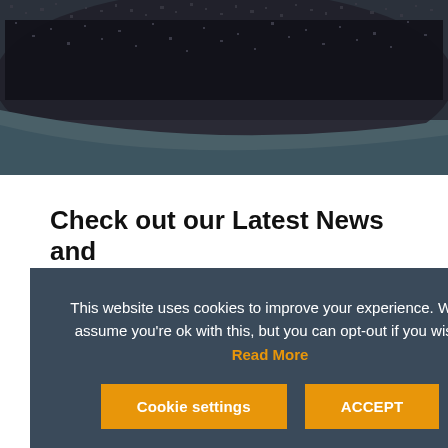[Figure (photo): Close-up photograph of dark/charcoal textured surface resembling asphalt or granular material, with teal-grey background visible at lower portion]
Check out our Latest News and
This website uses cookies to improve your experience. We'll assume you're ok with this, but you can opt-out if you wish. Read More
Cookie settings   ACCEPT
ews check